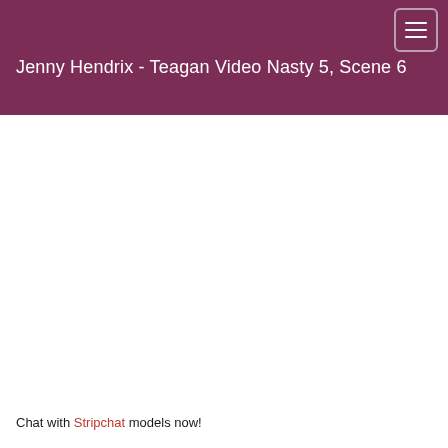Jenny Hendrix - Teagan Video Nasty 5, Scene 6
Chat with Stripchat models now!